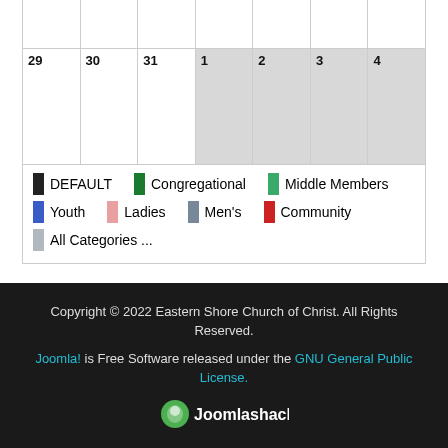| 29 | 30 | 31 | 1 | 2 | 3 | 4 |
| --- | --- | --- | --- | --- | --- | --- |
|  |  |  |  |  |  |  |
DEFAULT
Congregational
Middle Members
Youth
Ladies
Men's
Community
All Categories ...
Copyright © 2022 Eastern Shore Church of Christ. All Rights Reserved. Joomla! is Free Software released under the GNU General Public License. Joomlashack